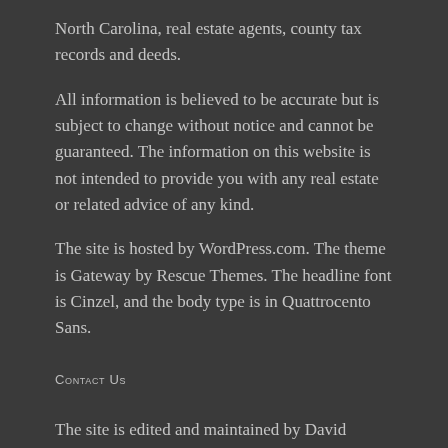North Carolina, real estate agents, county tax records and deeds.
All information is believed to be accurate but is subject to change without notice and cannot be guaranteed. The information on this website is not intended to provide you with any real estate or related advice of any kind.
The site is hosted by WordPress.com. The theme is Gateway by Rescue Themes. The headline font is Cinzel, and the body type is in Quattrocento Sans.
Contact Us
The site is edited and maintained by David Arneke. If you have questions, comments or suggestions, please let us